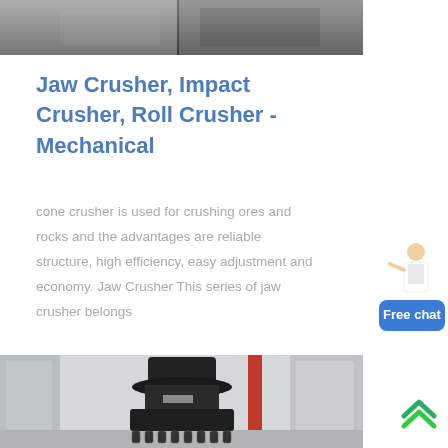[Figure (photo): Top partial photo of industrial machinery underside, gray tones]
Jaw Crusher, Impact Crusher, Roll Crusher - Mechanical
cone crusher is used for crushing ores and rocks and the advantages are reliable structure, high efficiency, easy adjustment and economy. Jaw Crusher This series of jaw crusher belongs
[Figure (photo): Photo of a large cone crusher machine in an industrial warehouse setting]
[Figure (other): Free chat widget with person figure and blue button labeled Free chat]
[Figure (other): Green double chevron scroll-up button in bottom right corner]